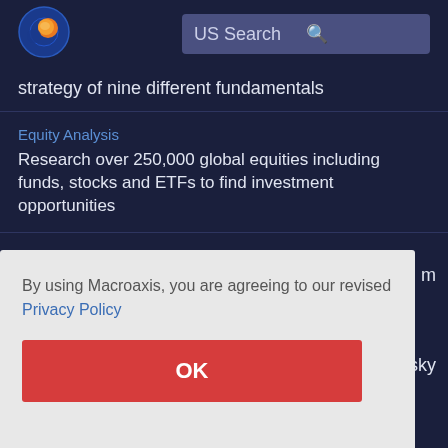[Figure (logo): Macroaxis globe logo — blue circle with orange/yellow globe graphic]
US Search
strategy of nine different fundamentals
Equity Analysis
Research over 250,000 global equities including funds, stocks and ETFs to find investment opportunities
Shere Portfolio
By using Macroaxis, you are agreeing to our revised Privacy Policy
OK